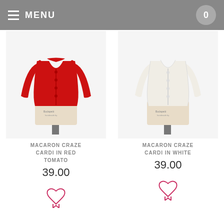MENU  0
[Figure (photo): Red cardigan displayed on a dress form mannequin]
MACARON CRAZE CARDI IN RED TOMATO
39.00
[Figure (illustration): Heart/bookmark wishlist icon in pink outline]
[Figure (photo): White cardigan displayed on a dress form mannequin]
MACARON CRAZE CARDI IN WHITE
39.00
[Figure (illustration): Heart/bookmark wishlist icon in pink outline]